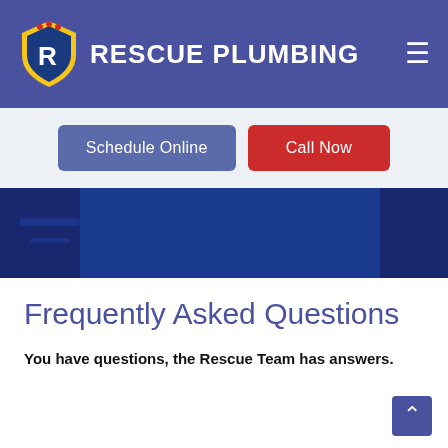RESCUE PLUMBING
[Figure (screenshot): Navigation buttons: Schedule Online (blue) and Call Now (red)]
[Figure (photo): Blue background photo strip showing plumbing tools]
Frequently Asked Questions
You have questions, the Rescue Team has answers.